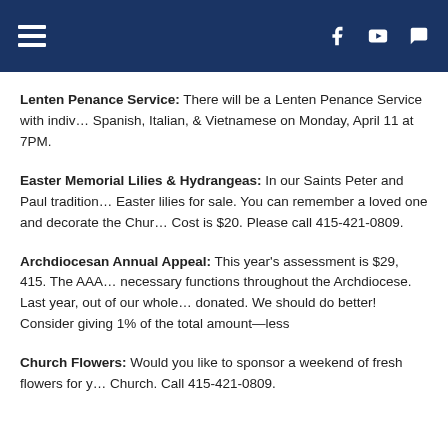Navigation header with hamburger menu and social icons (Facebook, YouTube, Chat)
Lenten Penance Service: There will be a Lenten Penance Service with individual confessions available in Spanish, Italian, & Vietnamese on Monday, April 11 at 7PM.
Easter Memorial Lilies & Hydrangeas: In our Saints Peter and Paul tradition we will have Easter lilies for sale. You can remember a loved one and decorate the Church. Cost is $20. Please call 415-421-0809.
Archdiocesan Annual Appeal: This year's assessment is $29, 415. The AAA funds necessary functions throughout the Archdiocese. Last year, out of our whole donated. We should do better! Consider giving 1% of the total amount—less
Church Flowers: Would you like to sponsor a weekend of fresh flowers for your Church. Call 415-421-0809.